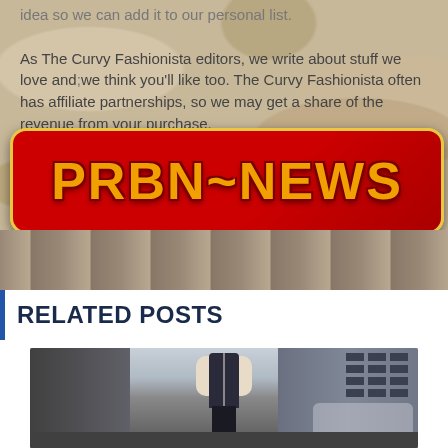idea so we can add it to our personal list.
As The Curvy Fashionista editors, we write about stuff we love and we think you'll like too. The Curvy Fashionista often has affiliate partnerships, so we may get a share of the revenue from your purchase.
[Figure (logo): PRBN~NEWS red banner with gold outlined text on red rounded rectangle background]
[Figure (photo): Blurred street/mosaic wall background photo strip]
RELATED POSTS
[Figure (photo): Street style photo of a person wearing a navy quilted vest over cream long-sleeve top with black pants, standing on a city street with buildings in background]